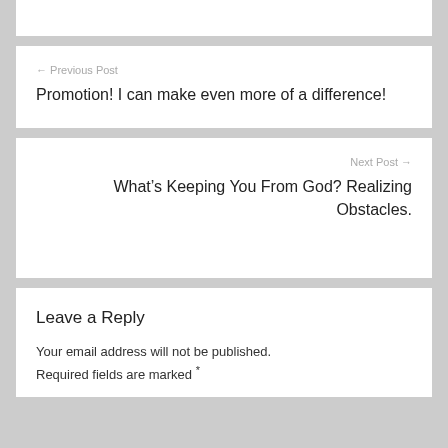← Previous Post
Promotion! I can make even more of a difference!
Next Post →
What's Keeping You From God? Realizing Obstacles.
Leave a Reply
Your email address will not be published. Required fields are marked *